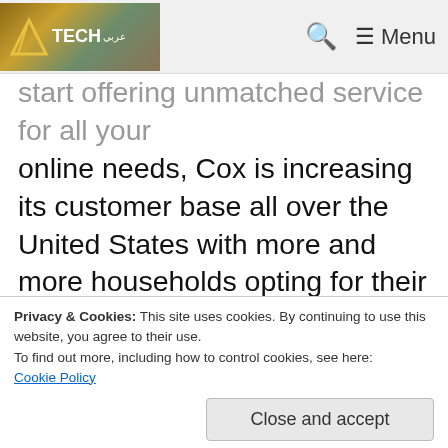Tech [logo] — Search — Menu
start offering unmatched service for all your online needs, Cox is increasing its customer base all over the United States with more and more households opting for their Internet service over other providers. Get Cox and choose a service that's 100 times faster than dial-up. Now download in mere seconds, not minutes. Download and upload large files and if you get stuck during the process PowerBoost gives you a temporary
Privacy & Cookies: This site uses cookies. By continuing to use this website, you agree to their use.
To find out more, including how to control cookies, see here:
Cookie Policy
Close and accept
instant messaging. And protect all your